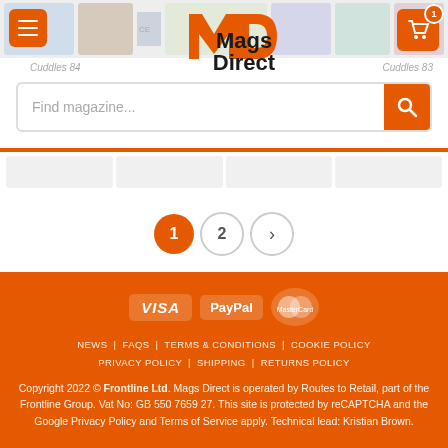[Figure (screenshot): Mags Direct website header with logo, hamburger menu button, cart button, search bar, and partial magazine cover images in the background]
Cuddles 84
Cuddles 83
Find magazine...
1  2  >
[Figure (logo): VISA, PayPal, MasterCard payment icons on orange background]
NEWS   FAQS   TERMS & CONDITIONS   COOKIE POLICY   PRIVACY POLICY   SHIPPING   RETURNS POLICY
Copyright 2022 © Frontline Ltd. Mags Direct is operated by Routes to Retail, part of the Frontline Group. Vat No: GB 550 7659 27. This site is protected by reCAPTCHA and the Google Privacy Policy and Terms of Service apply. Technical lead: Kristian Brown.